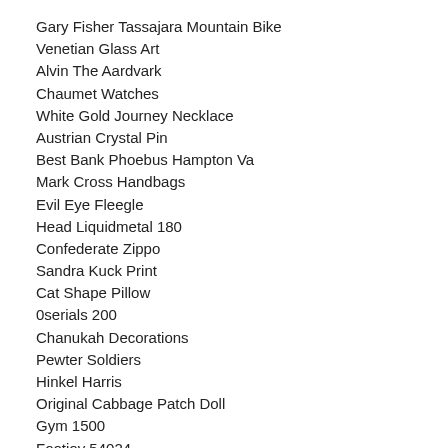Gary Fisher Tassajara Mountain Bike
Venetian Glass Art
Alvin The Aardvark
Chaumet Watches
White Gold Journey Necklace
Austrian Crystal Pin
Best Bank Phoebus Hampton Va
Mark Cross Handbags
Evil Eye Fleegle
Head Liquidmetal 180
Confederate Zippo
Sandra Kuck Print
Cat Shape Pillow
0serials 200
Chanukah Decorations
Pewter Soldiers
Hinkel Harris
Original Cabbage Patch Doll
Gym 1500
Footjoy 54024